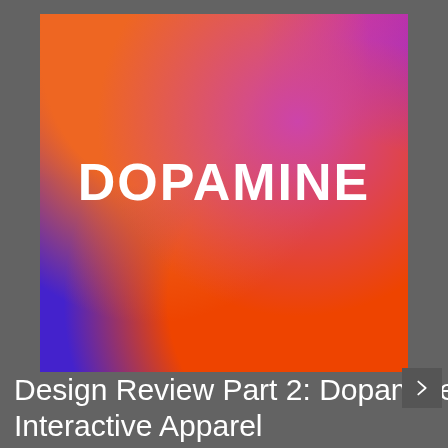[Figure (illustration): A square image with a vibrant colorful gradient background transitioning from orange at top-left, through pink/purple in the center-top, to blue/purple at bottom-left, and red/orange at bottom-right. The word DOPAMINE is displayed in large bold white rounded letters centered in the image.]
Design Review Part 2: Dopamine Interactive Apparel